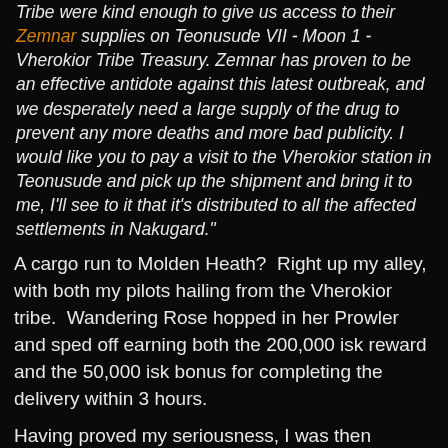...including your family somewhere. The Vherokior Tribe were kind enough to give us access to their Zemnar supplies on Teonusude VII - Moon 1 - Vherokior Tribe Treasury. Zemnar has proven to be an effective antidote against this latest outbreak, and we desperately need a large supply of the drug to prevent any more deaths and more bad publicity. I would like you to pay a visit to the Vherokior station in Teonusude and pick up the shipment and bring it to me, I'll see to it that it's distributed to all the affected settlements in Nakugard."
A cargo run to Molden Heath?  Right up my alley, with both my pilots hailing from the Vherokior tribe.  Wandering Rose hopped in her Prowler and sped off earning both the 200,000 isk reward and the 50,000 isk bonus for completing the delivery within 3 hours.
Having proved my seriousness, I was then offered "The Ani Build-Up - Carrot on a Stick."
"As your second assignment, I need you to fetch